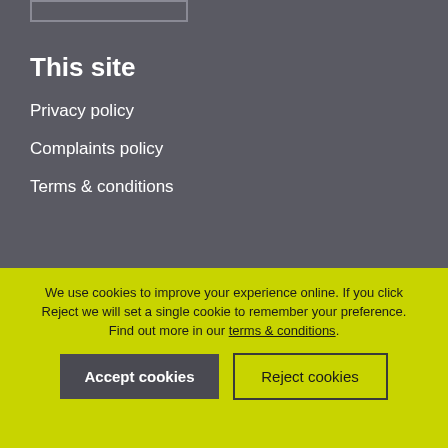[Figure (other): Logo placeholder box outline in top-left of dark grey section]
This site
Privacy policy
Complaints policy
Terms & conditions
We use cookies to improve your experience online. If you click Reject we will set a single cookie to remember your preference. Find out more in our terms & conditions.
Accept cookies | Reject cookies